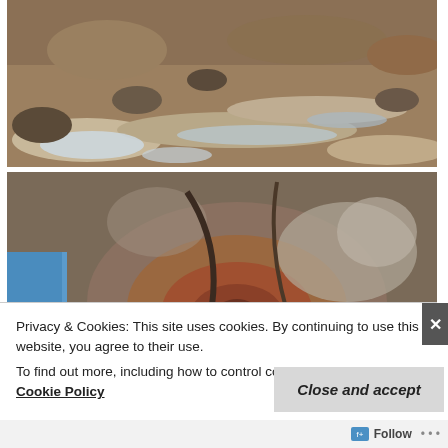[Figure (photo): Aerial or ground-level view of rocky terrain with pools of water and light reflections on flat rock slabs in a muddy landscape.]
[Figure (photo): Close-up of rocky surface with concentric brownish erosion patterns and a person's hand/clothing (blue and pink) visible at left edge.]
Privacy & Cookies: This site uses cookies. By continuing to use this website, you agree to their use.
To find out more, including how to control cookies, see here: Cookie Policy
Close and accept
Follow